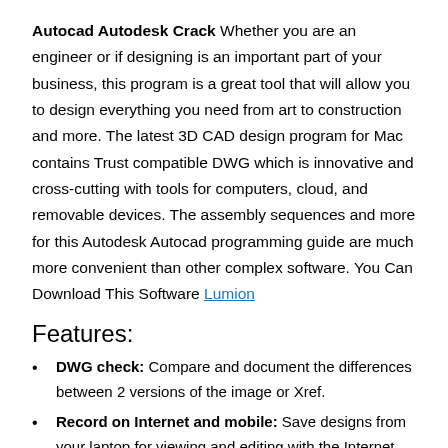Autocad Autodesk Crack Whether you are an engineer or if designing is an important part of your business, this program is a great tool that will allow you to design everything you need from art to construction and more. The latest 3D CAD design program for Mac contains Trust compatible DWG which is innovative and cross-cutting with tools for computers, cloud, and removable devices. The assembly sequences and more for this Autodesk Autocad programming guide are much more convenient than other complex software. You Can Download This Software Lumion
Features:
DWG check: Compare and document the differences between 2 versions of the image or Xref.
Record on Internet and mobile: Save designs from your laptop for viewing and editing with the Internet and AutoCAD mobile apps.
2D photo: Enjoy 2x faster zooming, panning, and swapping of